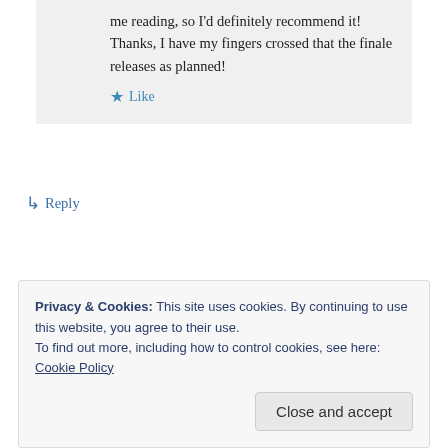me reading, so I'd definitely recommend it! Thanks, I have my fingers crossed that the finale releases as planned!
★ Like
↳ Reply
Privacy & Cookies: This site uses cookies. By continuing to use this website, you agree to their use.
To find out more, including how to control cookies, see here: Cookie Policy
Close and accept